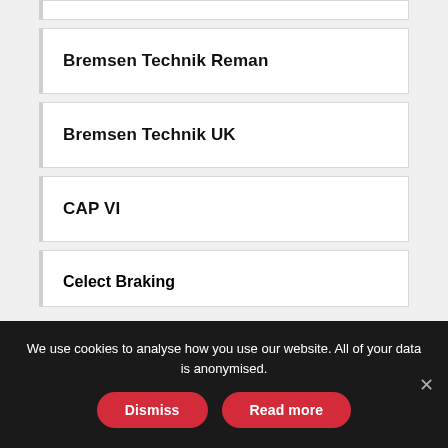Bremsen Technik Reman
Bremsen Technik UK
CAP VI
Celect Braking
We use cookies to analyse how you use our website. All of your data is anonymised.
Dismiss
Read more